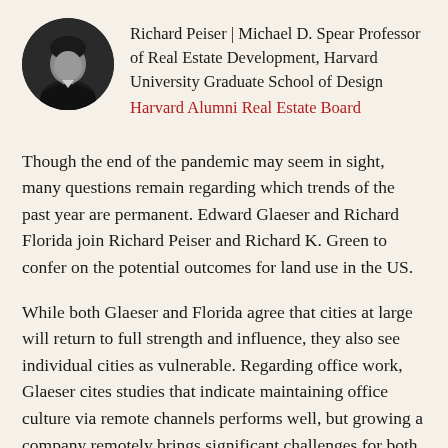[Figure (photo): Circular black and white portrait photo of Richard Peiser]
Richard Peiser | Michael D. Spear Professor of Real Estate Development, Harvard University Graduate School of Design
Harvard Alumni Real Estate Board
Though the end of the pandemic may seem in sight, many questions remain regarding which trends of the past year are permanent. Edward Glaeser and Richard Florida join Richard Peiser and Richard K. Green to confer on the potential outcomes for land use in the US.
While both Glaeser and Florida agree that cities at large will return to full strength and influence, they also see individual cities as vulnerable. Regarding office work, Glaeser cites studies that indicate maintaining office culture via remote channels performs well, but growing a company remotely brings significant challenges for both management